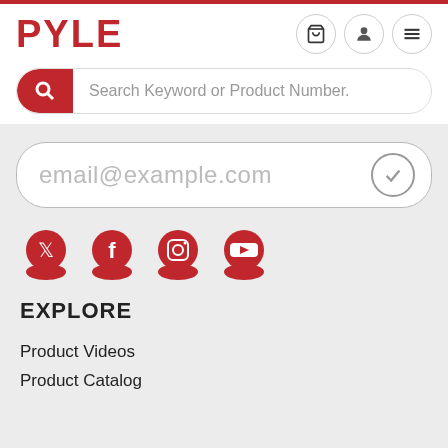[Figure (logo): Pyle logo in bold red text]
[Figure (screenshot): Search bar with red magnifying glass icon and placeholder text 'Search Keyword or Product Number.']
[Figure (screenshot): Email input bar with placeholder 'email@example.com' and checkmark circle on right]
[Figure (other): Four social media icons in red circles: Twitter, Facebook, Instagram, YouTube]
EXPLORE
Product Videos
Product Catalog